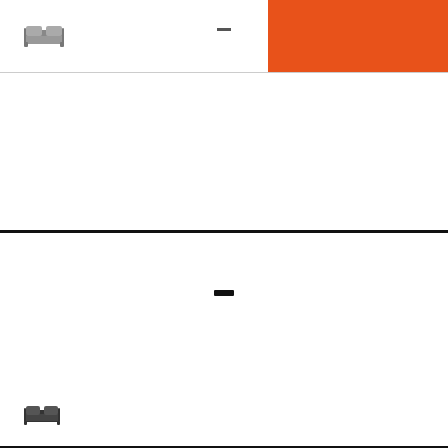-
[Figure (illustration): Orange/red rectangle in top right corner of header]
[Figure (illustration): Bed icon (double bed) in middle section]
Located in Nha Trang, Golden Beach Nha Trang Boutique Hotel is minutes from Sailing Club Nha Trang and Louisiane...